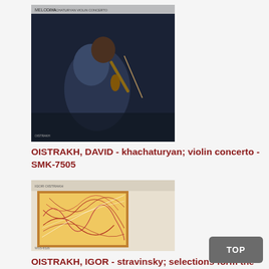[Figure (photo): Album cover for Oistrakh David - Khachaturyan violin concerto SMK-7505, showing a man playing violin on a dark background]
OISTRAKH, DAVID - khachaturyan; violin concerto - SMK-7505
[Figure (photo): Album cover for Oistrakh Igor - Stravinsky selections from the ballet suite from pulcinella WGS-8326, showing abstract colorful line art on cream/orange background]
OISTRAKH, IGOR - stravinsky; selections form the ballet suite from "pulcinella" - WGS-8326
[Figure (photo): Album cover for Ormandy Eugene - Penderecki utrenja the entombment of christ SRA-2814, showing green glowing floral art on dark background]
ORMANDY, EUGENE - penderecki; utrenja the entombment of christ - SRA-2814